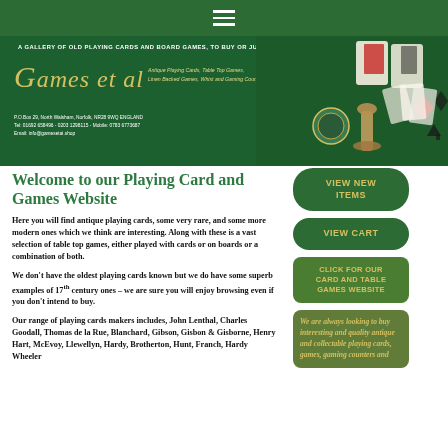Navigation bar with hamburger menu
[Figure (logo): Games et al banner logo with green background, antique playing cards imagery, chess piece, and contact details. Tagline: A GALLERY OF OLD PLAYING CARDS AND BOARD GAMES, TO BUY OR JUST BROWSE]
Welcome to our Playing Card and Games Website
Here you will find antique playing cards, some very rare, and some more modern ones which we think are interesting. Along with these is a vast selection of table top games, either played with cards or on boards or a combination of both.
We don't have the oldest playing cards known but we do have some superb examples of 17th century ones – we are sure you will enjoy browsing even if you don't intend to buy.
Our range of playing cards makers includes, John Lenthal, Charles Goodall, Thomas de la Rue, Blanchard, Gibson, Gisbon & Gisborne, Henry Hart, McEvoy, Llewellyn, Hardy, Brotherton, Hunt, Franch, Hardy Wheeler
VIEW NEW ITEMS
VIEW CART
CLICK FOR OUR CARD AND TABLE GAMES WEBSITE
We are always looking to buy interesting and quality antique and collectable playing cards, games, gaming counters and